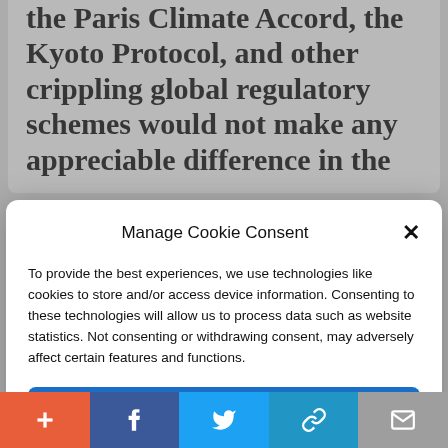the Paris Climate Accord, the Kyoto Protocol, and other crippling global regulatory schemes would not make any appreciable difference in the
Manage Cookie Consent
To provide the best experiences, we use technologies like cookies to store and/or access device information. Consenting to these technologies will allow us to process data such as website statistics. Not consenting or withdrawing consent, may adversely affect certain features and functions.
Accept
Cookie Policy  Privacy Policy
That is a truly frightening proposition, as